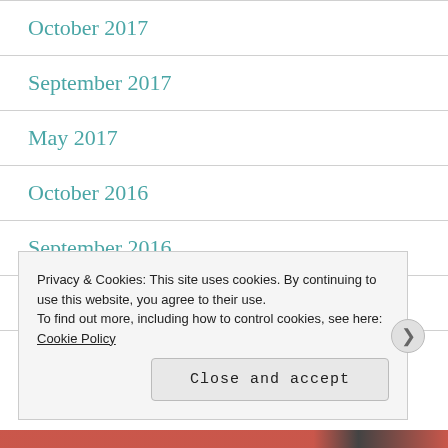October 2017
September 2017
May 2017
October 2016
September 2016
June 2016
May 2016
Privacy & Cookies: This site uses cookies. By continuing to use this website, you agree to their use. To find out more, including how to control cookies, see here: Cookie Policy
Close and accept